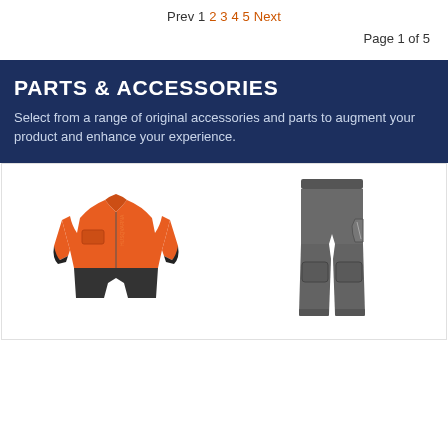Prev 1 2 3 4 5 Next
Page 1 of 5
PARTS & ACCESSORIES
Select from a range of original accessories and parts to augment your product and enhance your experience.
[Figure (photo): Orange and black Husqvarna protective jacket]
[Figure (photo): Grey Husqvarna protective pants/trousers]